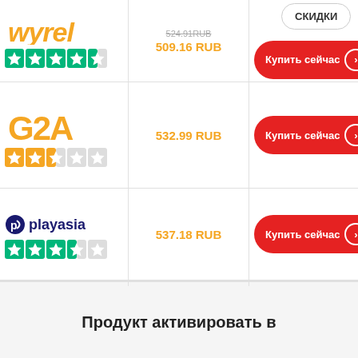[Figure (logo): Wyrel logo (orange italic text, partially cropped at top), 4.5 green Trustpilot stars below]
524.91RUB (strikethrough)
509.16 RUB
[Figure (other): Red pill button with text Купить сейчас and arrow circle]
[Figure (logo): G2A logo in orange, 2.5 orange Trustpilot stars below]
532.99 RUB
[Figure (other): Red pill button with text Купить сейчас and arrow circle]
[Figure (logo): Playasia logo with blue icon and text, 4 green Trustpilot stars below]
537.18 RUB
[Figure (other): Red pill button with text Купить сейчас and arrow circle]
Продукт активировать в